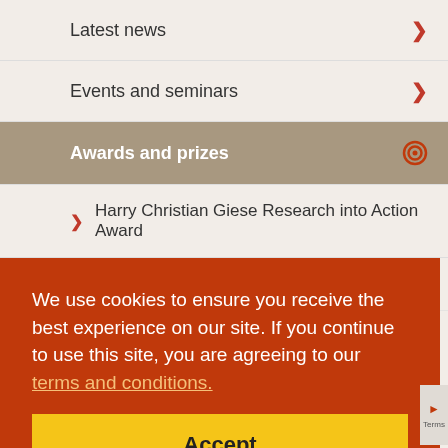Latest news ›
Events and seminars ›
Awards and prizes (active/selected)
Harry Christian Giese Research into Action Award
Menzies medallion
We use cookies to ensure you receive the best experience on our site. If you continue to use this site, you are agreeing to our terms and conditions.
Accept